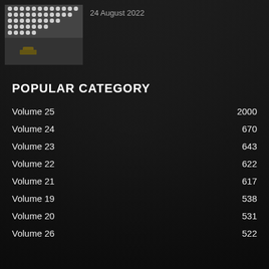[Figure (photo): Aerial or overhead industrial photo showing machinery or vehicles among rows of white objects on a dark surface]
24 August 2022
POPULAR CATEGORY
Volume 25   2000
Volume 24   670
Volume 23   643
Volume 22   622
Volume 21   617
Volume 19   538
Volume 20   531
Volume 26   522